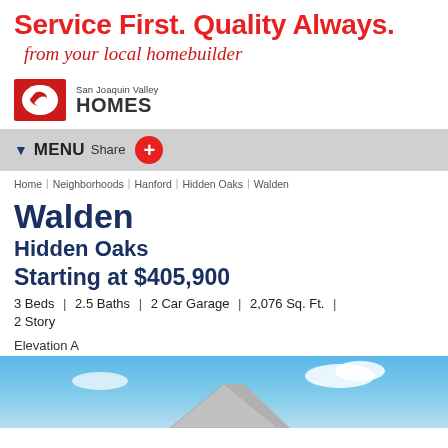Service First. Quality Always.
from your local homebuilder
[Figure (logo): San Joaquin Valley Homes logo with red swirl graphic and text]
MENU Share +
Home | Neighborhoods | Hanford | Hidden Oaks | Walden
Walden
Hidden Oaks
Starting at $405,900
3 Beds | 2.5 Baths | 2 Car Garage | 2,076 Sq. Ft. | 2 Story
Elevation A
[Figure (photo): Exterior photo of a house with blue sky background]